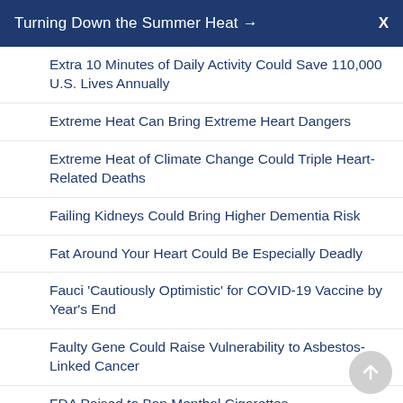Turning Down the Summer Heat →  X
Extra 10 Minutes of Daily Activity Could Save 110,000 U.S. Lives Annually
Extreme Heat Can Bring Extreme Heart Dangers
Extreme Heat of Climate Change Could Triple Heart-Related Deaths
Failing Kidneys Could Bring Higher Dementia Risk
Fat Around Your Heart Could Be Especially Deadly
Fauci 'Cautiously Optimistic' for COVID-19 Vaccine by Year's End
Faulty Gene Could Raise Vulnerability to Asbestos-Linked Cancer
FDA Poised to Ban Menthol Cigarettes
FDA Reduces Recommended Salt Levels in Americans' Food